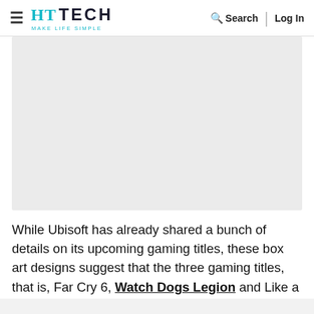HT TECH — Make Life Simple | Search | Log In
[Figure (photo): Gray placeholder image area for a gaming article image]
While Ubisoft has already shared a bunch of details on its upcoming gaming titles, these box art designs suggest that the three gaming titles, that is, Far Cry 6, Watch Dogs Legion and Like a Dragon, will be optimised for [continues below]